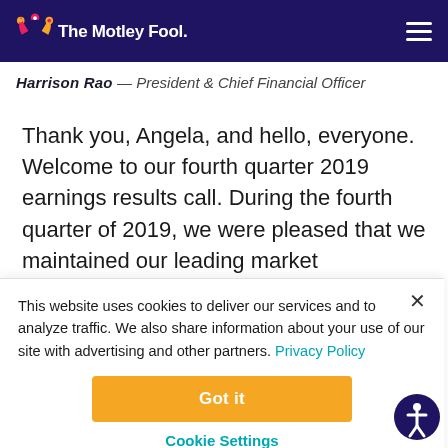The Motley Fool
Harrison Rao — President & Chief Financial Officer
Thank you, Angela, and hello, everyone. Welcome to our fourth quarter 2019 earnings results call. During the fourth quarter of 2019, we were pleased that we maintained our leading market
This website uses cookies to deliver our services and to analyze traffic. We also share information about your use of our site with advertising and other partners. Privacy Policy
Got it
Cookie Settings